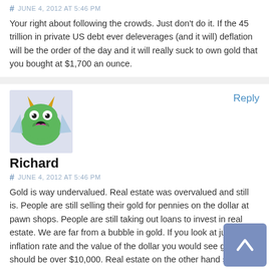# JUNE 4, 2012 AT 5:46 PM
Your right about following the crowds. Just don't do it. If the 45 trillion in private US debt ever deleverages (and it will) deflation will be the order of the day and it will really suck to own gold that you bought at $1,700 an ounce.
[Figure (illustration): Cartoon avatar of a green monster/creature with yellow horns, blue wing-like appendages, white eyes, and a pink mouth/tusks on a light blue/lavender background]
Reply
Richard
# JUNE 4, 2012 AT 5:46 PM
Gold is way undervalued. Real estate was overvalued and still is. People are still selling their gold for pennies on the dollar at pawn shops. People are still taking out loans to invest in real estate. We are far from a bubble in gold. If you look at just the inflation rate and the value of the dollar you would see gold should be over $10,000. Real estate on the other hand should be down another 30-40%.
It is great to be a free thinker but we still need to backup what we think